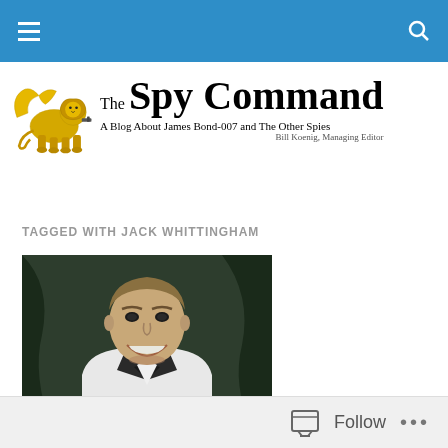The Spy Command navigation bar
[Figure (logo): The Spy Command website logo with golden winged lion and site name]
TAGGED WITH JACK WHITTINGHAM
[Figure (photo): Black and white photograph of a man in a tuxedo with bow tie, smiling]
Follow ...